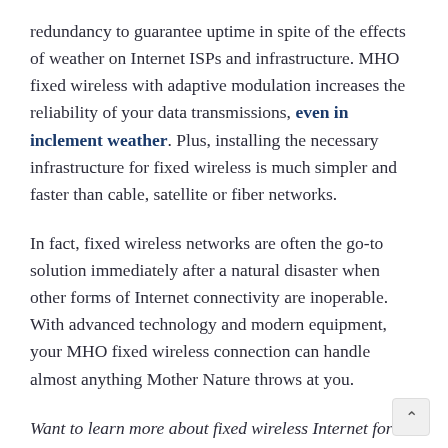redundancy to guarantee uptime in spite of the effects of weather on Internet ISPs and infrastructure. MHO fixed wireless with adaptive modulation increases the reliability of your data transmissions, even in inclement weather. Plus, installing the necessary infrastructure for fixed wireless is much simpler and faster than cable, satellite or fiber networks.
In fact, fixed wireless networks are often the go-to solution immediately after a natural disaster when other forms of Internet connectivity are inoperable. With advanced technology and modern equipment, your MHO fixed wireless connection can handle almost anything Mother Nature throws at you.
Want to learn more about fixed wireless Internet for your business? Click here to check for availability and get more